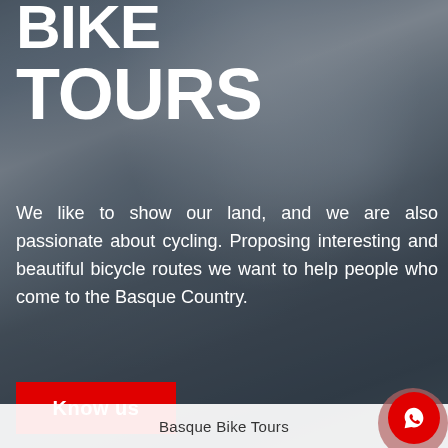BIKE TOURS
We like to show our land, and we are also passionate about cycling. Proposing interesting and beautiful bicycle routes we want to help people who come to the Basque Country.
Know us
Basque Bike Tours